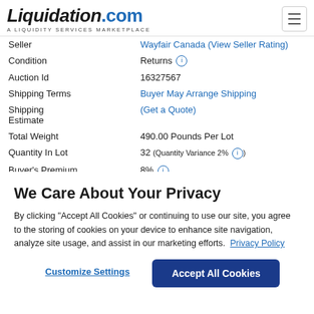Liquidation.com — A LIQUIDITY SERVICES MARKETPLACE
| Field | Value |
| --- | --- |
| Seller | Wayfair Canada (View Seller Rating) |
| Condition | Returns ℹ |
| Auction Id | 16327567 |
| Shipping Terms | Buyer May Arrange Shipping |
| Shipping Estimate | (Get a Quote) |
| Total Weight | 490.00 Pounds Per Lot |
| Quantity In Lot | 32 (Quantity Variance 2% ℹ) |
| Buyer's Premium | 8% ℹ |
We Care About Your Privacy
By clicking "Accept All Cookies" or continuing to use our site, you agree to the storing of cookies on your device to enhance site navigation, analyze site usage, and assist in our marketing efforts.  Privacy Policy
Customize Settings   Accept All Cookies